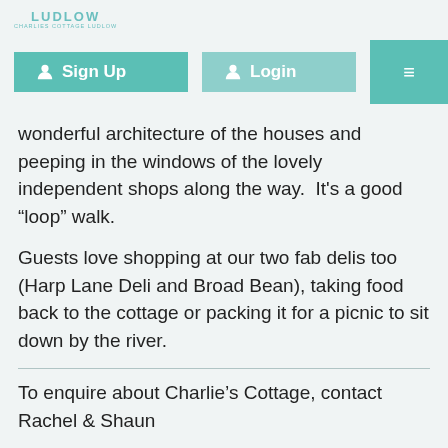LUDLOW
[Figure (screenshot): Navigation bar with Sign Up button (teal), Login button (lighter teal), and hamburger menu button (teal) on right]
wonderful architecture of the houses and peeping in the windows of the lovely independent shops along the way.  It's a good “loop” walk.
Guests love shopping at our two fab delis too (Harp Lane Deli and Broad Bean), taking food back to the cottage or packing it for a picnic to sit down by the river.
To enquire about Charlie’s Cottage, contact Rachel & Shaun
Phone: 01584 831733, 07973 764340, 07778 844878